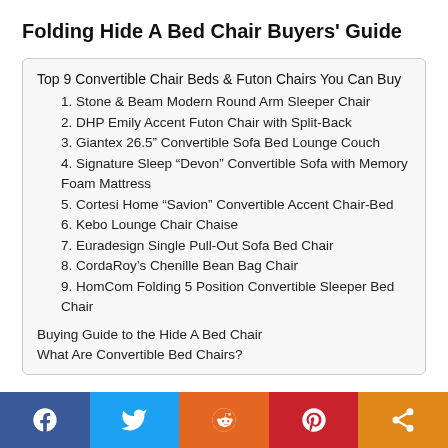Folding Hide A Bed Chair Buyers' Guide
Top 9 Convertible Chair Beds & Futon Chairs You Can Buy
1. Stone & Beam Modern Round Arm Sleeper Chair
2. DHP Emily Accent Futon Chair with Split-Back
3. Giantex 26.5" Convertible Sofa Bed Lounge Couch
4. Signature Sleep “Devon” Convertible Sofa with Memory Foam Mattress
5. Cortesi Home “Savion” Convertible Accent Chair-Bed
6. Kebo Lounge Chair Chaise
7. Euradesign Single Pull-Out Sofa Bed Chair
8. CordaRoy’s Chenille Bean Bag Chair
9. HomCom Folding 5 Position Convertible Sleeper Bed Chair
Buying Guide to the Hide A Bed Chair
What Are Convertible Bed Chairs?